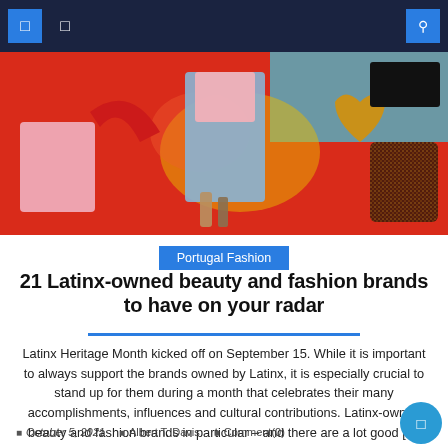Navigation bar with logo icons and search
[Figure (photo): Fashion collage hero image with red background, woman in denim shorts, pink top, red high heels, pink sweatshirt, glittery glove, heart ornament, and beauty products]
Portugal Fashion
21 Latinx-owned beauty and fashion brands to have on your radar
Latinx Heritage Month kicked off on September 15. While it is important to always support the brands owned by Latinx, it is especially crucial to stand up for them during a month that celebrates their many accomplishments, influences and cultural contributions. Latinx-owned beauty and fashion brands in particular – and there are a lot good [...]
October 5, 2021  Albert T. Davis  Comment(0)